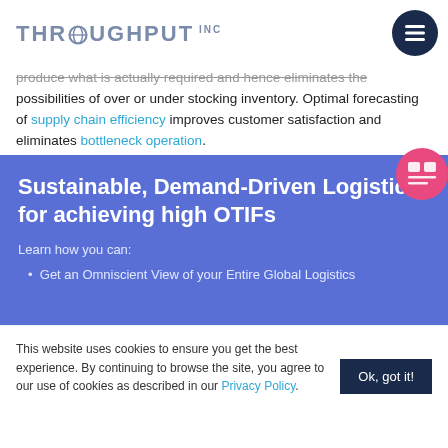THROUGHPUT INC
produce what is actually required and hence eliminates the possibilities of over or under stocking inventory. Optimal forecasting of supply chain efficiency improves customer satisfaction and eliminates bottleneck operation.
Sustainable, Demand-Driven Logistics for achieving high OTIFs
Learn how you can:
Get an Omniscient View of your Entire Global Logistics
This website uses cookies to ensure you get the best experience. By continuing to browse the site, you agree to our use of cookies as described in our Privacy Policy.